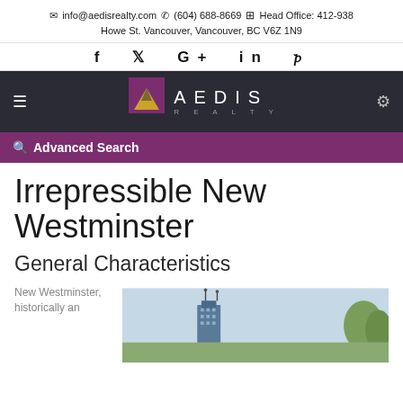✉ info@aedisrealty.com  ✆ (604) 688-8669  ⊞ Head Office: 412-938 Howe St. Vancouver, Vancouver, BC V6Z 1N9
f  𝕏  G+  in  𝑝
[Figure (logo): Aedis Realty logo: dark background with a geometric purple and gold 'A' shape and text AEDIS REALTY]
Advanced Search
Irrepressible New Westminster
General Characteristics
New Westminster, historically an
[Figure (photo): Photo of New Westminster cityscape with buildings and trees against a light sky]